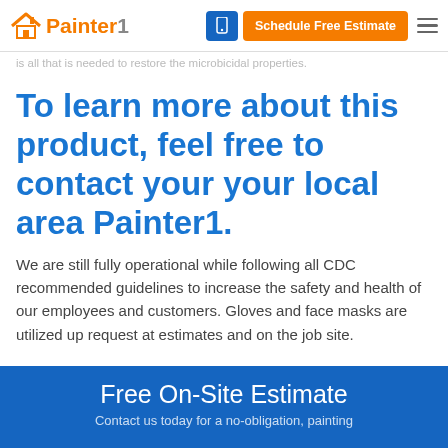Painter1 — Schedule Free Estimate
is all that is needed to restore the microbicidal properties.
To learn more about this product, feel free to contact your your local area Painter1.
We are still fully operational while following all CDC recommended guidelines to increase the safety and health of our employees and customers. Gloves and face masks are utilized up request at estimates and on the job site.
Free On-Site Estimate
Contact us today for a no-obligation, painting